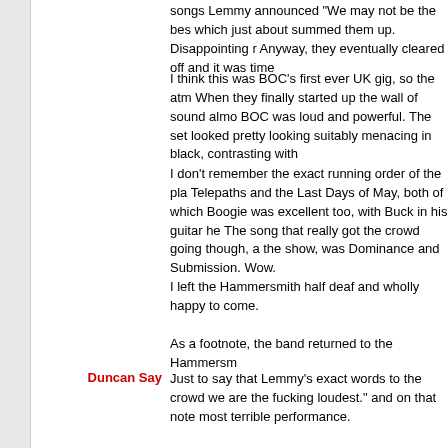songs Lemmy announced "We may not be the bes which just about summed them up. Disappointing r Anyway, they eventually cleared off and it was time
I think this was BOC's first ever UK gig, so the atm When they finally started up the wall of sound almo BOC was loud and powerful. The set looked pretty looking suitably menacing in black, contrasting with
I don't remember the exact running order of the pla Telepaths and the Last Days of May, both of which Boogie was excellent too, with Buck in his guitar he The song that really got the crowd going though, a the show, was Dominance and Submission. Wow.
I left the Hammersmith half deaf and wholly happy to come.
As a footnote, the band returned to the Hammersm
Duncan Say
Just to say that Lemmy's exact words to the crowd we are the fucking loudest." and on that note most terrible performance.
It was a great night for the BOC, so different from a before, enough to forgive them for the guitar hero b
Keith Downing
I was there and thought the band were absolutely e I ever attended. They were certainly far better thar